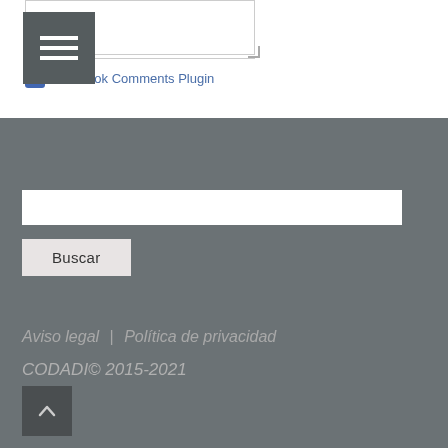[Figure (screenshot): Menu hamburger icon (three white lines on dark gray background), textarea outline with resize handle, horizontal separator line]
Facebook Comments Plugin
[Figure (screenshot): Search input field (white rectangle) on dark gray footer background]
Buscar
Aviso legal | Política de privacidad
CODADI© 2015-2021
[Figure (screenshot): Back to top button (dark gray square with upward chevron arrow)]